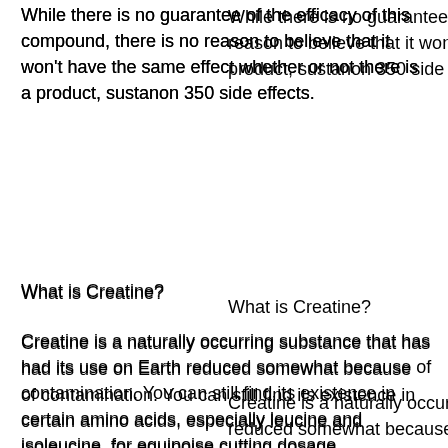While there is no guarantee of the efficacy of this compound, there is no reason to believe that it won't have the same effect whether or not there is a product, sustanon 350 side effects.
What is Creatine?
Creatine is a naturally occurring substance that has had its use on Earth reduced somewhat because of contamination. You can still find its existence in certain amino acids, especially leucine and isoleucine, for equipoise cutting dosage.
The amino acids that provide creatine are: L-Leucine (alanine), L-Serine (tryptophan), L-Valine (thymine), L-Methionine (l-cysteine), L-Lysine (lysine), L-Arginine (alaenic acid), L-Threonine (tryptophan), L-Sucrose, L-Aspartic acid